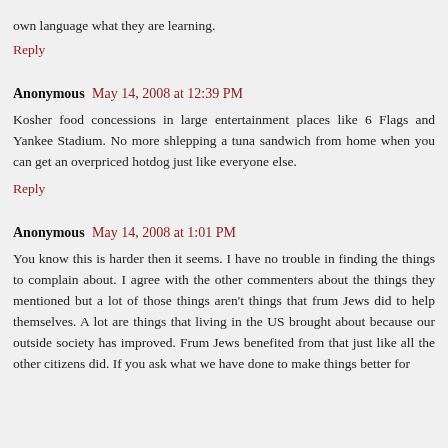own language what they are learning.
Reply
Anonymous May 14, 2008 at 12:39 PM
Kosher food concessions in large entertainment places like 6 Flags and Yankee Stadium. No more shlepping a tuna sandwich from home when you can get an overpriced hotdog just like everyone else.
Reply
Anonymous May 14, 2008 at 1:01 PM
You know this is harder then it seems. I have no trouble in finding the things to complain about. I agree with the other commenters about the things they mentioned but a lot of those things aren't things that frum Jews did to help themselves. A lot are things that living in the US brought about because our outside society has improved. Frum Jews benefited from that just like all the other citizens did. If you ask what we have done to make things better for